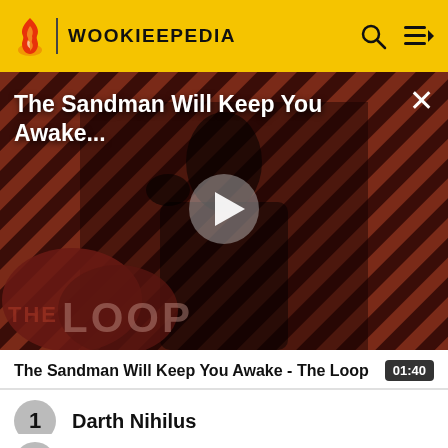WOOKIEEPEDIA
[Figure (screenshot): Video thumbnail showing a dark figure in a black cloak with a raven, set against a diagonal striped red/dark background. Overlay text: 'The Sandman Will Keep You Awake...' with The Loop logo at bottom left. A play button is centered.]
The Sandman Will Keep You Awake - The Loop
01:40
1  Darth Nihilus
2  Dooku